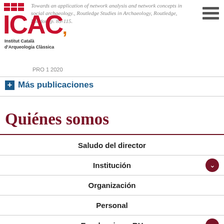Towards an application of network analysis and network concepts in social archaeology., Routledge Studies in Archaeology, Routledge, London, p. 89-115.
[Figure (logo): ICAC - Institut Català d'Arqueologia Clàssica logo with red letter marks and hamburger menu icon]
PRO 1 2020
Más publicaciones
Quiénes somos
Saludo del director
Institución
Organización
Personal
Excelencia en RH
Memorias